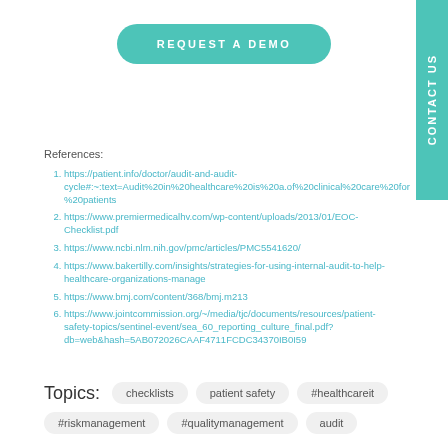[Figure (other): REQUEST A DEMO button - teal rounded rectangle]
References:
https://patient.info/doctor/audit-and-audit-cycle#:~:text=Audit%20in%20healthcare%20is%20a.of%20clinical%20care%20for%20patients
https://www.premiermedicalhv.com/wp-content/uploads/2013/01/EOC-Checklist.pdf
https://www.ncbi.nlm.nih.gov/pmc/articles/PMC5541620/
https://www.bakertilly.com/insights/strategies-for-using-internal-audit-to-help-healthcare-organizations-manage
https://www.bmj.com/content/368/bmj.m213
https://www.jointcommission.org/~/media/tjc/documents/resources/patient-safety-topics/sentinel-event/sea_60_reporting_culture_final.pdf?db=web&hash=5AB072026CAAF4711FCDC34370IB0I59
Topics:  checklists  patient safety  #healthcareit  #riskmanagement  #qualitymanagement  audit